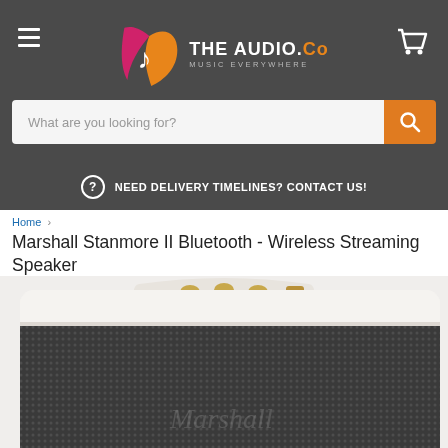THE AUDIO.Co — MUSIC EVERYWHERE
What are you looking for?
NEED DELIVERY TIMELINES? CONTACT US!
Home > Marshall Stanmore II Bluetooth - Wireless Streaming Speaker
Marshall Stanmore II Bluetooth - Wireless Streaming Speaker
[Figure (photo): Marshall Stanmore II Bluetooth wireless speaker in white/cream color with gold control knobs on top and dark fabric grille on front, viewed from slight angle]